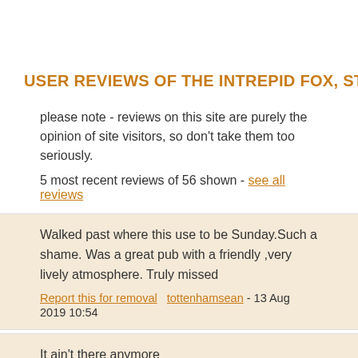USER REVIEWS OF THE INTREPID FOX, ST GILES
please note - reviews on this site are purely the opinion of site visitors, so don't take them too seriously.
5 most recent reviews of 56 shown - see all reviews
Walked past where this use to be Sunday.Such a shame. Was a great pub with a friendly ,very lively atmosphere. Truly missed
Report this for removal  tottenhamsean - 13 Aug 2019 10:54
It ain't there anymore
Report this for removal  cellarbuoy - 10 Dec 2016 20:15